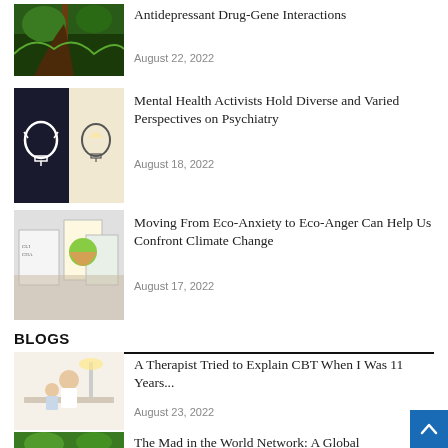[Figure (photo): Forest/nature scene with green vines and trees]
Antidepressant Drug-Gene Interactions
August 22, 2022
[Figure (photo): Two lightbulb images - one dark chalkboard style, one hand-drawn sketch]
Mental Health Activists Hold Diverse and Varied Perspectives on Psychiatry
August 18, 2022
[Figure (photo): Climate change protest signs with earth ice cream cone illustration]
Moving From Eco-Anxiety to Eco-Anger Can Help Us Confront Climate Change
August 17, 2022
BLOGS
[Figure (photo): Person sitting at table, therapist/child scene]
A Therapist Tried to Explain CBT When I Was 11 Years...
August 23, 2022
[Figure (photo): Green nature/forest scene]
The Mad in the World Network: A Global